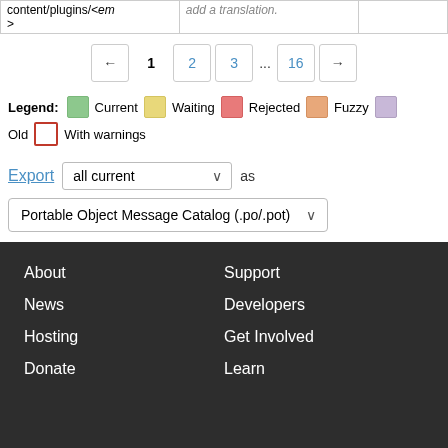| content/plugins/<em> | add a translation. |  |
← 1 2 3 ... 16 →
Legend: Current Waiting Rejected Fuzzy Old With warnings
Export all current as Portable Object Message Catalog (.po/.pot)
About Support News Developers Hosting Get Involved Donate Learn